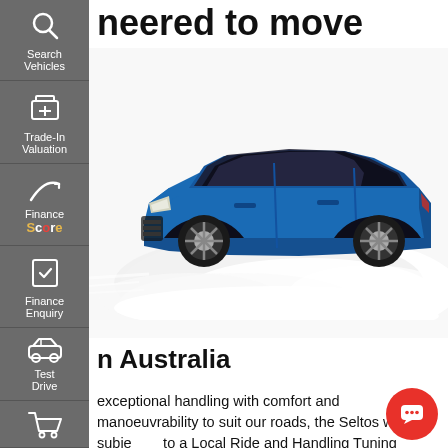neered to move you.
[Figure (photo): Blue Kia Seltos SUV driving with motion blur/dust cloud effect on white background]
n Australia
exceptional handling with comfort and manoeuvrability to suit our roads, the Seltos was subjected to a Local Ride and Handling Tuning program over kilometres across urban and country roads in
[Figure (other): Red circular chat/message button with speech bubble icon]